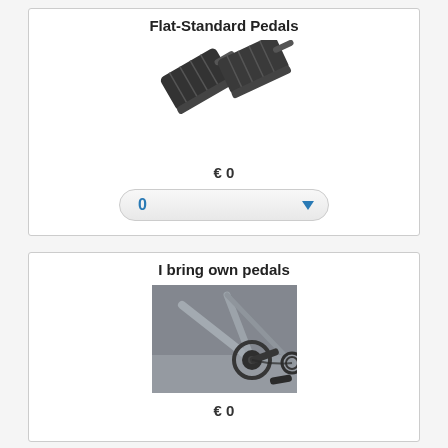Flat-Standard Pedals
[Figure (illustration): Two flat platform bicycle pedals shown at an angle, dark gray/black color]
€ 0
0
I bring own pedals
[Figure (photo): Close-up photo of bicycle crank arm and pedal area, showing metal components]
€ 0